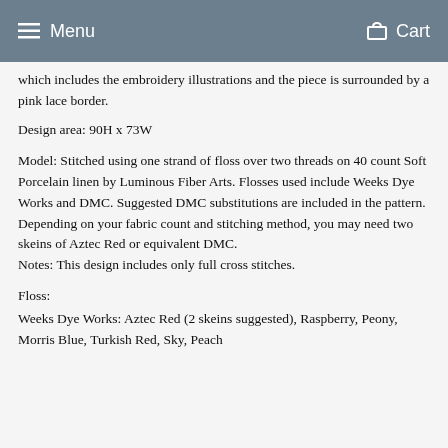Menu   Cart
which includes the embroidery illustrations and the piece is surrounded by a pink lace border.
Design area: 90H x 73W
Model: Stitched using one strand of floss over two threads on 40 count Soft Porcelain linen by Luminous Fiber Arts. Flosses used include Weeks Dye Works and DMC. Suggested DMC substitutions are included in the pattern. Depending on your fabric count and stitching method, you may need two skeins of Aztec Red or equivalent DMC.
Notes: This design includes only full cross stitches.
Floss:
Weeks Dye Works: Aztec Red (2 skeins suggested), Raspberry, Peony, Morris Blue, Turkish Red, Sky, Peach...